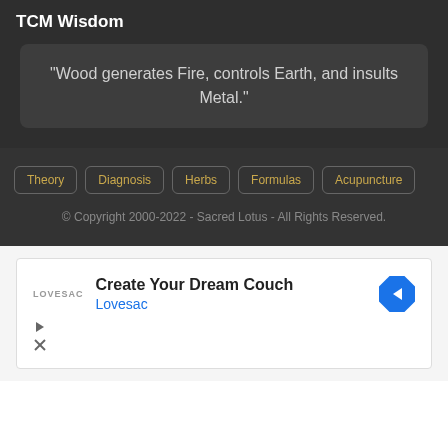TCM Wisdom
“Wood generates Fire, controls Earth, and insults Metal.”
Theory
Diagnosis
Herbs
Formulas
Acupuncture
© Copyright 2000-2022 - Sacred Lotus - All Rights Reserved.
[Figure (infographic): Advertisement for Lovesac featuring text 'Create Your Dream Couch', 'Lovesac' in blue, a navigation arrow icon, and playback/close controls.]